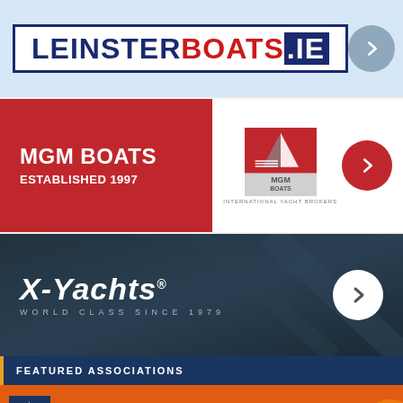[Figure (logo): LeinsterBoats.ie logo banner with navy and red text on white box, light blue background, gray arrow button]
[Figure (logo): MGM Boats Established 1997 banner: red block with white text, MGM Boats International Yacht Brokers logo, red circular arrow button]
[Figure (logo): X-Yachts World Class Since 1979 banner with dark navy background, white italic text, white circular arrow button]
FEATURED ASSOCIATIONS
[Figure (logo): ICRA logo on orange background with blue square logo and large white ICRA text]